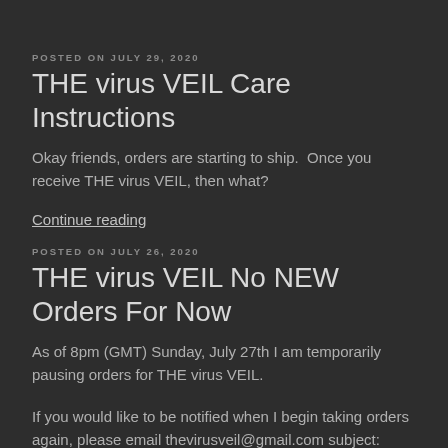POSTED ON JULY 29, 2020
THE virus VEIL Care Instructions
Okay friends, orders are starting to ship.  Once you receive THE virus VEIL, then what?
Continue reading
POSTED ON JULY 26, 2020
THE virus VEIL No NEW Orders For Now
As of 8pm (GMT) Sunday, July 27th I am temporarily pausing orders for THE virus VEIL.
If you would like to be notified when I begin taking orders again, please email thevirusveil@gmail.com subject: